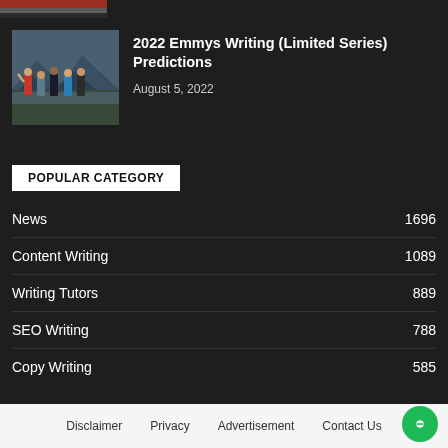[Figure (photo): Partial top image strip showing a red/dark scene, cropped]
[Figure (photo): Thumbnail image of group of people standing outdoors near water and mountains]
2022 Emmys Writing (Limited Series) Predictions
August 5, 2022
POPULAR CATEGORY
News 1696
Content Writing 1089
Writing Tutors 889
SEO Writing 788
Copy Writing 585
Disclaimer   Privacy   Advertisement   Contact Us